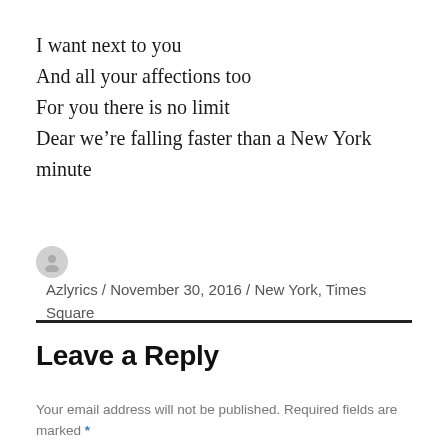I want next to you
And all your affections too
For you there is no limit
Dear we’re falling faster than a New York minute
Azlyrics / November 30, 2016 / New York, Times Square
Leave a Reply
Your email address will not be published. Required fields are marked *